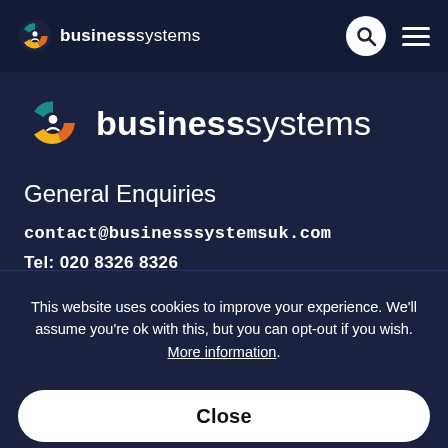businesssystems — navigation bar with search and menu icons
[Figure (logo): Business Systems logo (large) — circular icon with teal, orange and yellow arrow segments around a dark center, beside text 'businesssystems' in bold sans-serif]
General Enquiries
contact@businesssystemsuk.com
Tel: 020 8326 8326
This website uses cookies to improve your experience. We'll assume you're ok with this, but you can opt-out if you wish. More information.
Close